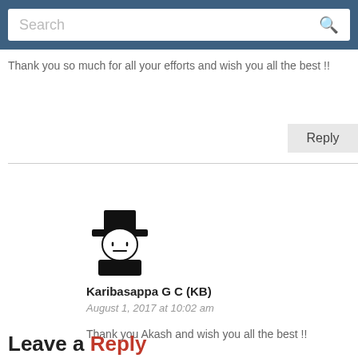Search
Thank you so much for all your efforts and wish you all the best !!
Reply
[Figure (illustration): Generic avatar icon: a person with a wide-brimmed hat, simple face, and dark torso/shoulders silhouette]
Karibasappa G C (KB)
August 1, 2017 at 10:02 am
Thank you Akash and wish you all the best !!
Reply
Leave a Reply